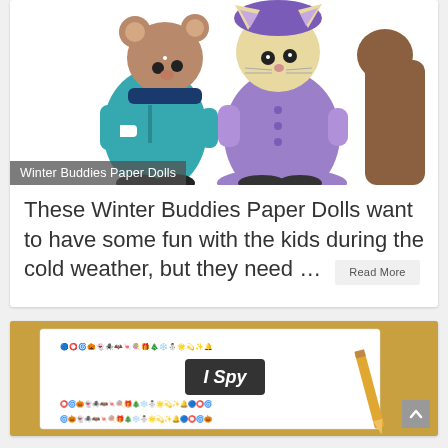[Figure (illustration): Two cute cartoon animal characters dressed in winter clothes — a mouse/bear in a teal coat and scarf, and a cat in a purple dress and hat]
Winter Buddies Paper Dolls
These Winter Buddies Paper Dolls want to have some fun with the kids during the cold weather, but they need …
Read More
[Figure (photo): An I Spy worksheet on an orange/yellow background with a pencil beside it, featuring densely packed small cartoon drawings and the text 'I Spy' in the center]